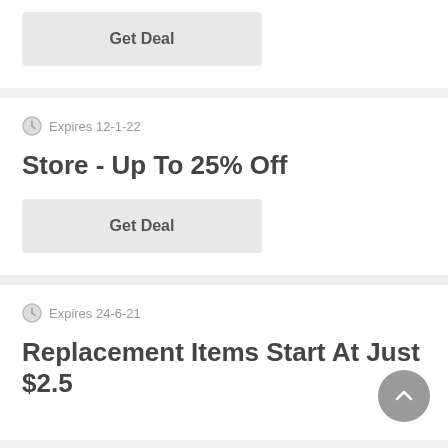Get Deal
Expires 12-1-22
Store - Up To 25% Off
Get Deal
Expires 24-6-21
Replacement Items Start At Just $2.5